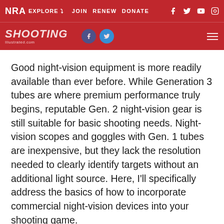NRA EXPLORE ∨  JOIN  RENEW  DONATE
Good night-vision equipment is more readily available than ever before. While Generation 3 tubes are where premium performance truly begins, reputable Gen. 2 night-vision gear is still suitable for basic shooting needs. Night-vision scopes and goggles with Gen. 1 tubes are inexpensive, but they lack the resolution needed to clearly identify targets without an additional light source. Here, I'll specifically address the basics of how to incorporate commercial night-vision devices into your shooting game.